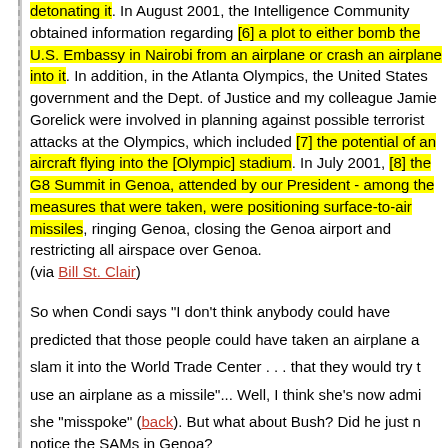detonating it. In August 2001, the Intelligence Community obtained information regarding [6] a plot to either bomb the U.S. Embassy in Nairobi from an airplane or crash an airplane into it. In addition, in the Atlanta Olympics, the United States government and the Dept. of Justice and my colleague Jamie Gorelick were involved in planning against possible terrorist attacks at the Olympics, which included [7] the potential of an aircraft flying into the [Olympic] stadium. In July 2001, [8] the G8 Summit in Genoa, attended by our President - among the measures that were taken, were positioning surface-to-air missiles, ringing Genoa, closing the Genoa airport and restricting all airspace over Genoa. (via Bill St. Clair)
So when Condi says "I don't think anybody could have predicted that those people could have taken an airplane and slam it into the World Trade Center . . . that they would try to use an airplane as a missile"... Well, I think she's now admitted she "misspoke" (back). But what about Bush? Did he just not notice the SAMs in Genoa?
None so blind as those who will not see, eh?